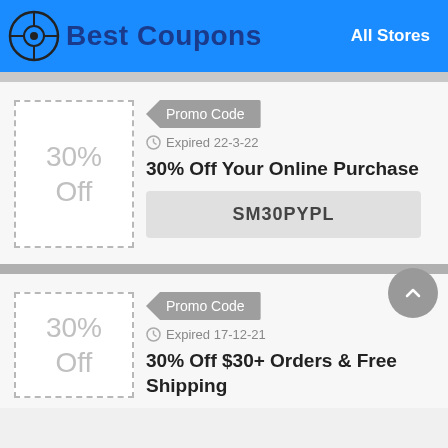Best Coupons  All Stores
30% Off — Promo Code, Expired 22-3-22, 30% Off Your Online Purchase, SM30PYPL
30% Off — Promo Code, Expired 17-12-21, 30% Off $30+ Orders & Free Shipping